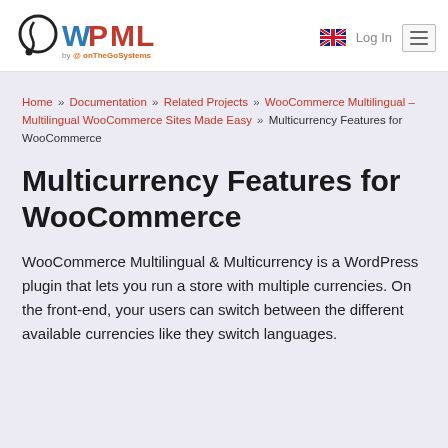WPML by onTheGoSystems — Log In [menu]
Home » Documentation » Related Projects » WooCommerce Multilingual – Multilingual WooCommerce Sites Made Easy » Multicurrency Features for WooCommerce
Multicurrency Features for WooCommerce
WooCommerce Multilingual & Multicurrency is a WordPress plugin that lets you run a store with multiple currencies. On the front-end, your users can switch between the different available currencies like they switch languages.